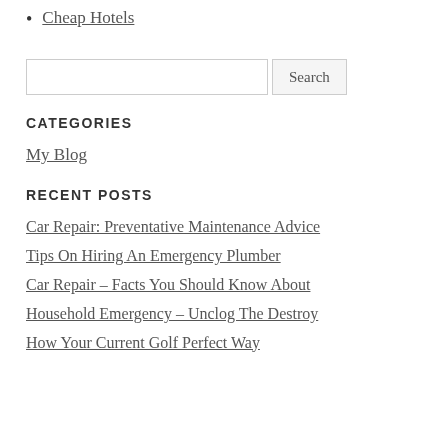Cheap Hotels
Search
CATEGORIES
My Blog
RECENT POSTS
Car Repair: Preventative Maintenance Advice
Tips On Hiring An Emergency Plumber
Car Repair – Facts You Should Know About
Household Emergency – Unclog The Destroy
How Your Current Golf Perfect Way